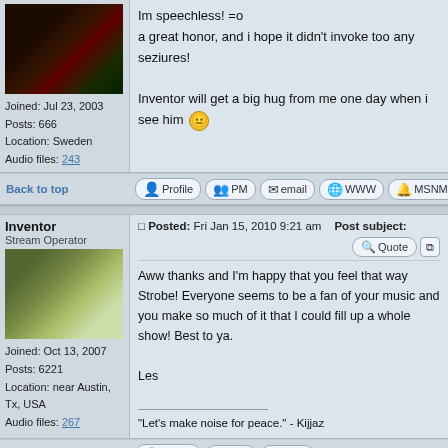Im speechless! =o
a great honor, and i hope it didn't invoke too any seziures!
Inventor will get a big hug from me one day when i see him
Joined: Jul 23, 2003
Posts: 666
Location: Sweden
Audio files: 243
Back to top
Profile | PM | email | WWW | MSNM
Inventor
Stream Operator
Posted: Fri Jan 15, 2010 9:21 am   Post subject:
Aww thanks and I'm happy that you feel that way Strobe! Everyone seems to be a fan of your music and you make so much of it that I could fill up a whole show! Best to ya.

Les

"Let's make noise for peace." - Kijjaz
Joined: Oct 13, 2007
Posts: 6221
Location: near Austin, Tx, USA
Audio files: 267
Back to top
Profile | PM | email